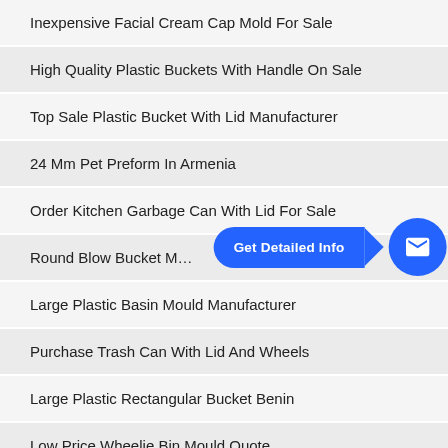Inexpensive Facial Cream Cap Mold For Sale
High Quality Plastic Buckets With Handle On Sale
Top Sale Plastic Bucket With Lid Manufacturer
24 Mm Pet Preform In Armenia
Order Kitchen Garbage Can With Lid For Sale
Round Blow Bucket M…
Large Plastic Basin Mould Manufacturer
Purchase Trash Can With Lid And Wheels
Large Plastic Rectangular Bucket Benin
Low Price Wheelie Bin Mould Quote